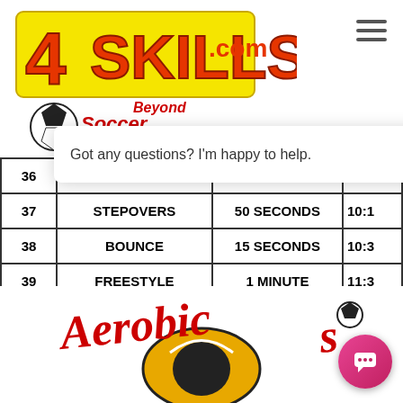[Figure (logo): 4Skills.com Soccer Beyond Tradition logo with yellow block letters and soccer ball]
| # | DRILL | DURATION | TIME |
| --- | --- | --- | --- |
| 36 | BOUNCE | 25 SECONDS | 9:2… |
| 37 | STEPOVERS | 50 SECONDS | 10:1… |
| 38 | BOUNCE | 15 SECONDS | 10:3… |
| 39 | FREESTYLE | 1 MINUTE | 11:3… |
| 40 | TOCA | 15 SECONDS | 11:4… |
| 41 | BO… |  | 2:0… |
Got any questions? I'm happy to help.
[Figure (logo): Aerobics Soccer logo with red cursive text and infinity symbol with soccer ball]